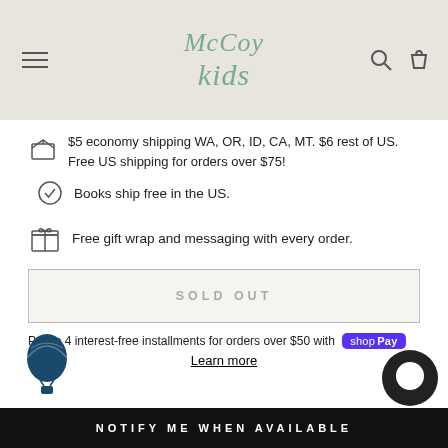McCoy Kids
$5 economy shipping WA, OR, ID, CA, MT. $6 rest of US. Free US shipping for orders over $75!
Books ship free in the US.
Free gift wrap and messaging with every order.
SOLD OUT
Pay in 4 interest-free installments for orders over $50 with Shop Pay
Learn more
NOTIFY ME WHEN AVAILABLE